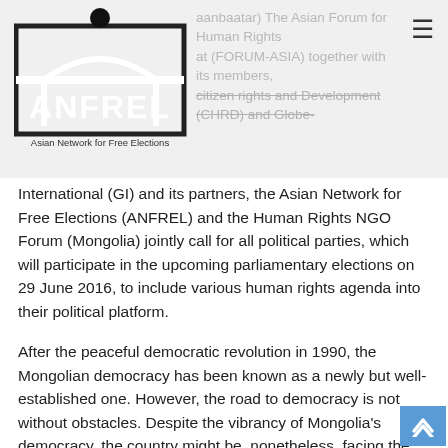ANFREL - Asian Network for Free Elections
(Ulaanbaatar) The Asian Forum for Human Rights and Development (FORUM-ASIA) together with its members, Citizens for Human Rights and Development (CHRD) and Globe International (GI) and its partners, the Asian Network for Free Elections (ANFREL) and the Human Rights NGO Forum (Mongolia) jointly call for all political parties, which will participate in the upcoming parliamentary elections on 29 June 2016, to include various human rights agenda into their political platform.
After the peaceful democratic revolution in 1990, the Mongolian democracy has been known as a newly but well-established one. However, the road to democracy is not without obstacles. Despite the vibrancy of Mongolia's democracy, the country might be, nonetheless, facing the global phenomena of democracy fatigue when the percentage of voter turnout kept decreasing from 98% in the 1990 parliamentary elections to 65.24% in 2013. This usually happens when people are frustrated with mainstream politics or feel that representative democracy